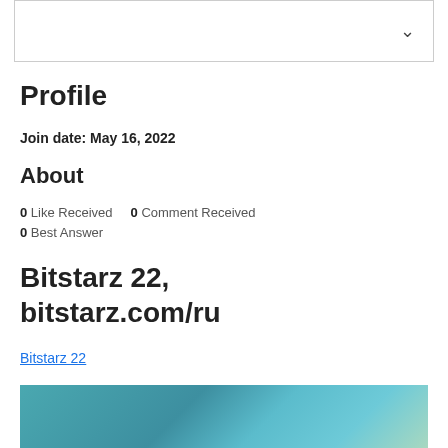Profile
Join date: May 16, 2022
About
0 Like Received   0 Comment Received
0 Best Answer
Bitstarz 22, bitstarz.com/ru
Bitstarz 22
[Figure (photo): Blurred teal/blue colored image at bottom of page]